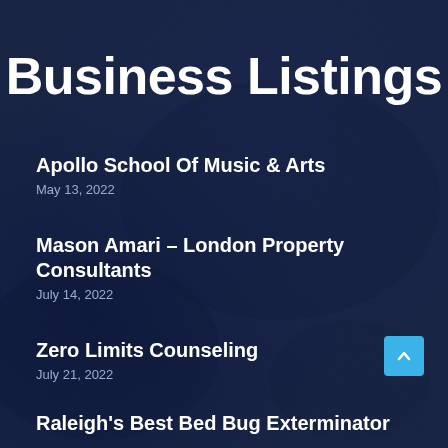Business Listings
Apollo School Of Music & Arts
May 13, 2022
Mason Amari – London Property Consultants
July 14, 2022
Zero Limits Counseling
July 21, 2022
Raleigh's Best Bed Bug Exterminator